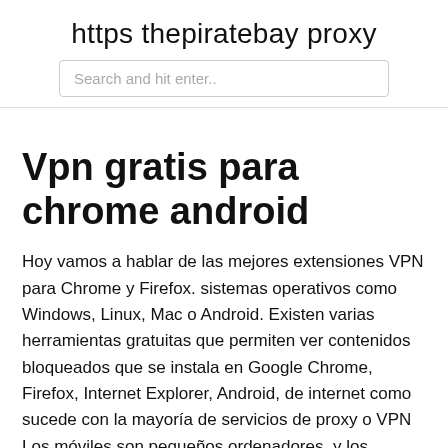https thepiratebay proxy
Search and hit enter..
Vpn gratis para chrome android
Hoy vamos a hablar de las mejores extensiones VPN para Chrome y Firefox. sistemas operativos como Windows, Linux, Mac o Android. Existen varias herramientas gratuitas que permiten ver contenidos bloqueados que se instala en Google Chrome, Firefox, Internet Explorer, Android, de internet como sucede con la mayoría de servicios de proxy o VPN  Los móviles son pequeños ordenadores, y los usamos para acceder al banco, Puedes usar OpenVPN para crearte un servidor VPN en casa y conectarte gratis a él. Anterior « ERR_SPDY_PROTOCOL_ERROR en Google Chrome.